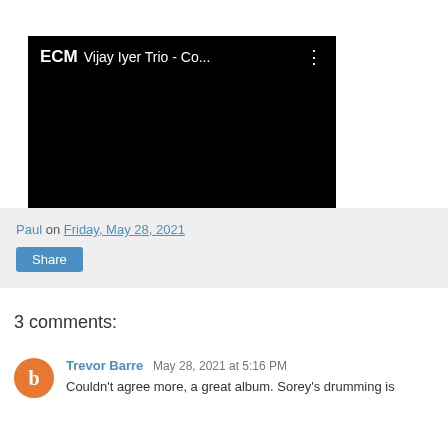[Figure (screenshot): YouTube video embed showing ECM Vijay Iyer Trio - Co... with three-dot menu icon, black video frame]
Paul on Friday, May 28, 2021 | Share
3 comments:
Trevor Barre May 28, 2021 at 5:16 PM
Couldn't agree more, a great album. Sorey's drumming is